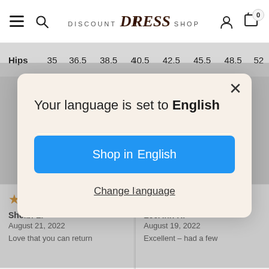Discount Dress Shop — navigation bar with hamburger menu, search icon, logo, user icon, cart (0)
| Hips | 35 | 36.5 | 38.5 | 40.5 | 42.5 | 45.5 | 48.5 | 52 |
| --- | --- | --- | --- | --- | --- | --- | --- | --- |
Your language is set to English
Shop in English
Change language
★★★★★
Shelbi L.
August 21, 2022
Love that you can return
★★★★★
LeeAnn H.
August 19, 2022
Excellent – had a few